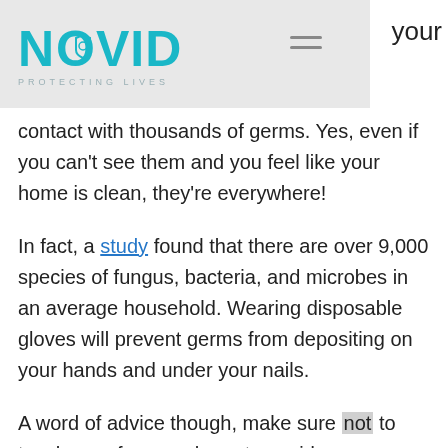NOVID PROTECTING LIVES
your contact with thousands of germs. Yes, even if you can't see them and you feel like your home is clean, they're everywhere!
In fact, a study found that there are over 9,000 species of fungus, bacteria, and microbes in an average household. Wearing disposable gloves will prevent germs from depositing on your hands and under your nails.
A word of advice though, make sure not to touch your face or phone to avoid